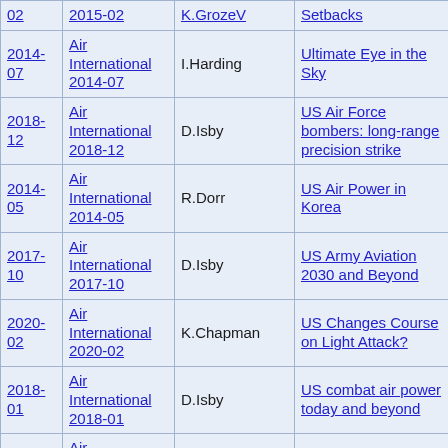| Date | Publication | Author | Title | Category |
| --- | --- | --- | --- | --- |
| 2014-07 | Air International 2014-07 | I.Harding | Ultimate Eye in the Sky | Military |
| 2018-12 | Air International 2018-12 | D.Isby | US Air Force bombers: long-range precision strike | Military |
| 2014-05 | Air International 2014-05 | R.Dorr | US Air Power in Korea | Military |
| 2017-10 | Air International 2017-10 | D.Isby | US Army Aviation 2030 and Beyond | Military |
| 2020-02 | Air International 2020-02 | K.Chapman | US Changes Course on Light Attack? | Military |
| 2018-01 | Air International 2018-01 | D.Isby | US combat air power today and beyond | Military |
| 2016-12 | Air International 2016-12 | M.Scharenborg, R.Wenink | V/STOL Academy | Military |